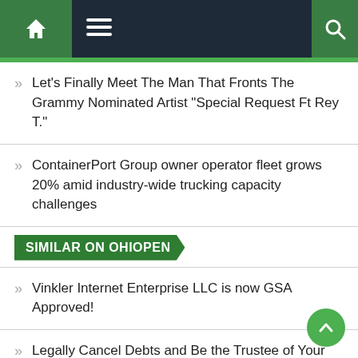Home navigation and search bar
Let's Finally Meet The Man That Fronts The Grammy Nominated Artist "Special Request Ft Rey T."
ContainerPort Group owner operator fleet grows 20% amid industry-wide trucking capacity challenges
SIMILAR ON OHIOPEN
Vinkler Internet Enterprise LLC is now GSA Approved!
Legally Cancel Debts and Be the Trustee of Your Own Natural Law Trust
Pull To Refresh Expedites Its Path To Climate Action With An Award Of Autodesk Software Licenses Valued At ...